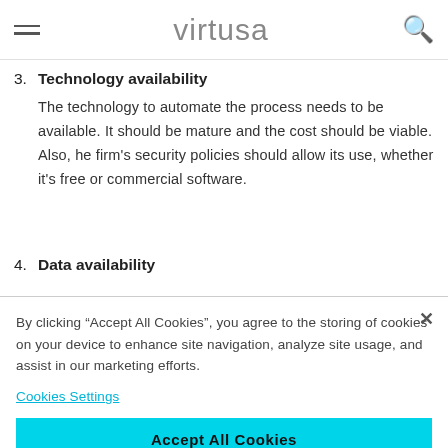virtusa
3. Technology availability
The technology to automate the process needs to be available. It should be mature and the cost should be viable. Also, he firm's security policies should allow its use, whether it's free or commercial software.
4. Data availability
By clicking “Accept All Cookies”, you agree to the storing of cookies on your device to enhance site navigation, analyze site usage, and assist in our marketing efforts.
Cookies Settings
Accept All Cookies